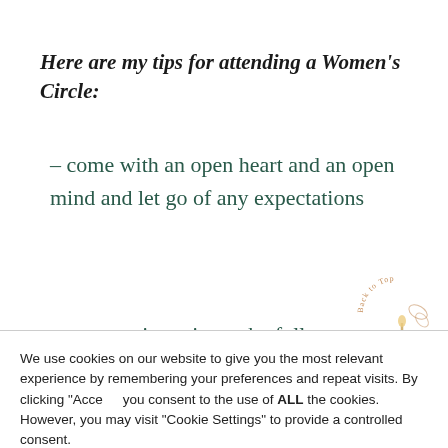Here are my tips for attending a Women's Circle:
– come with an open heart and an open mind and let go of any expectations
– set your intention to be fully present
We use cookies on our website to give you the most relevant experience by remembering your preferences and repeat visits. By clicking "Accept" you consent to the use of ALL the cookies. However, you may visit "Cookie Settings" to provide a controlled consent.